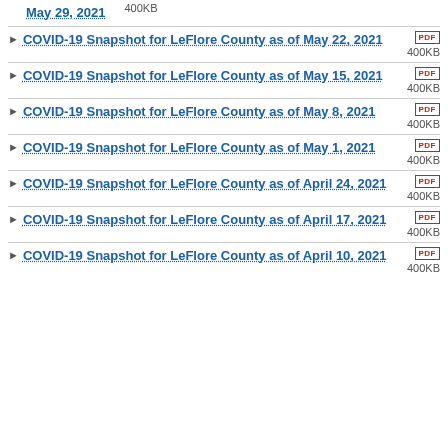May 29, 2021 — 400KB
COVID-19 Snapshot for LeFlore County as of May 22, 2021 — PDF 400KB
COVID-19 Snapshot for LeFlore County as of May 15, 2021 — PDF 400KB
COVID-19 Snapshot for LeFlore County as of May 8, 2021 — PDF 400KB
COVID-19 Snapshot for LeFlore County as of May 1, 2021 — PDF 400KB
COVID-19 Snapshot for LeFlore County as of April 24, 2021 — PDF 400KB
COVID-19 Snapshot for LeFlore County as of April 17, 2021 — PDF 400KB
COVID-19 Snapshot for LeFlore County as of April 10, 2021 — PDF 400KB